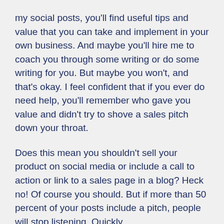my social posts, you'll find useful tips and value that you can take and implement in your own business. And maybe you'll hire me to coach you through some writing or do some writing for you. But maybe you won't, and that's okay. I feel confident that if you ever do need help, you'll remember who gave you value and didn't try to shove a sales pitch down your throat.
Does this mean you shouldn't sell your product on social media or include a call to action or link to a sales page in a blog? Heck no! Of course you should. But if more than 50 percent of your posts include a pitch, people will stop listening. Quickly.
[bctt tweet="If too much of your content is a pitch, people will stop listening. Quickly."]